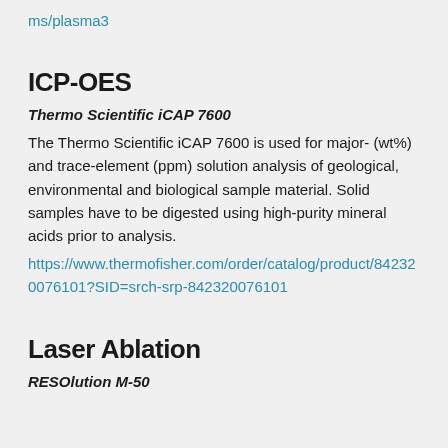ms/plasma3
ICP-OES
Thermo Scientific iCAP 7600
The Thermo Scientific iCAP 7600 is used for major- (wt%) and trace-element (ppm) solution analysis of geological, environmental and biological sample material. Solid samples have to be digested using high-purity mineral acids prior to analysis.
https://www.thermofisher.com/order/catalog/product/842320076101?SID=srch-srp-842320076101
Laser Ablation
RESOlution M-50